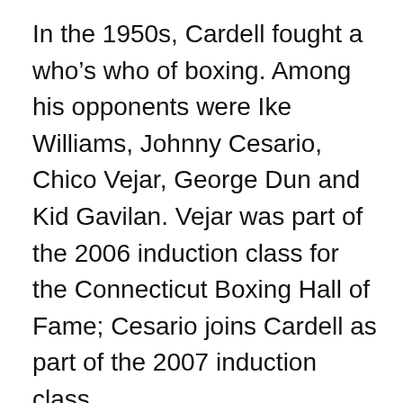In the 1950s, Cardell fought a who's who of boxing. Among his opponents were Ike Williams, Johnny Cesario, Chico Vejar, George Dun and Kid Gavilan. Vejar was part of the 2006 induction class for the Connecticut Boxing Hall of Fame; Cesario joins Cardell as part of the 2007 induction class.
Cardell earned a name for himself on Dec. 15, 1950. That's when he scored a stunning victory over Carmen Basilio. Cardell won a split decision in a 10-round bout. Basilio would go on to win world welterweight and middleweight titles and be inducted into the